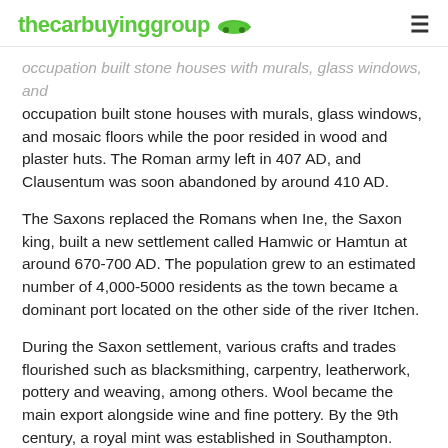thecarbuyinggroup
occupation built stone houses with murals, glass windows, and mosaic floors while the poor resided in wood and plaster huts. The Roman army left in 407 AD, and Clausentum was soon abandoned by around 410 AD.
The Saxons replaced the Romans when Ine, the Saxon king, built a new settlement called Hamwic or Hamtun at around 670-700 AD. The population grew to an estimated number of 4,000-5000 residents as the town became a dominant port located on the other side of the river Itchen.
During the Saxon settlement, various crafts and trades flourished such as blacksmithing, carpentry, leatherwork, pottery and weaving, among others. Wool became the main export alongside wine and fine pottery. By the 9th century, a royal mint was established in Southampton. However, the town suffered from numerous Danish raids until the 10th century, when Southampton fell into a decline, forcing residents to